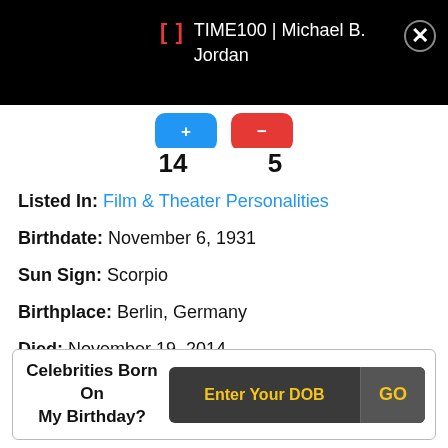TIME100 | Michael B. Jordan
14  5
Listed In: Film & Theater Personalities
Birthdate: November 6, 1931
Sun Sign: Scorpio
Birthplace: Berlin, Germany
Died: November 19, 2014
Height: 5'11" (180 cm)
Celebrities Born On My Birthday? Enter Your DOB GO